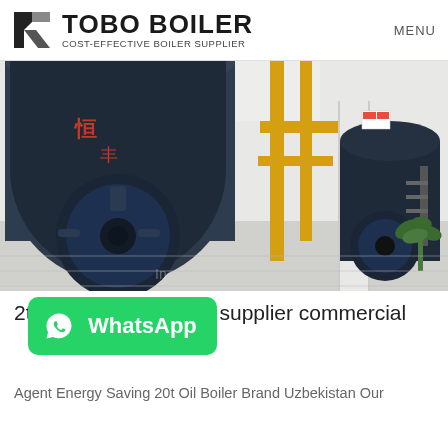TOBO BOILER  COST-EFFECTIVE BOILER SUPPLIER  MENU
[Figure (photo): Industrial boiler room with large dark blue gas boilers, yellow pipes, and plant equipment in a factory facility]
2t gas boiler machine supplier commercial
[Figure (other): WhatsApp contact button (green rounded rectangle with WhatsApp logo and text)]
Agent Energy Saving 20t Oil Boiler Brand Uzbekistan Our